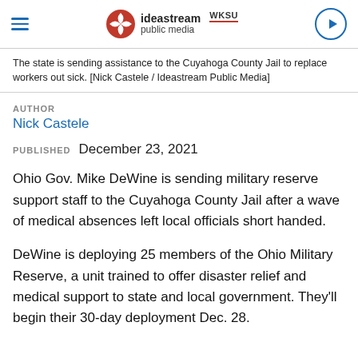ideastream public media WKSU
The state is sending assistance to the Cuyahoga County Jail to replace workers out sick. [Nick Castele / Ideastream Public Media]
AUTHOR
Nick Castele
PUBLISHED   December 23, 2021
Ohio Gov. Mike DeWine is sending military reserve support staff to the Cuyahoga County Jail after a wave of medical absences left local officials short handed.
DeWine is deploying 25 members of the Ohio Military Reserve, a unit trained to offer disaster relief and medical support to state and local government. They’ll begin their 30-day deployment Dec. 28.